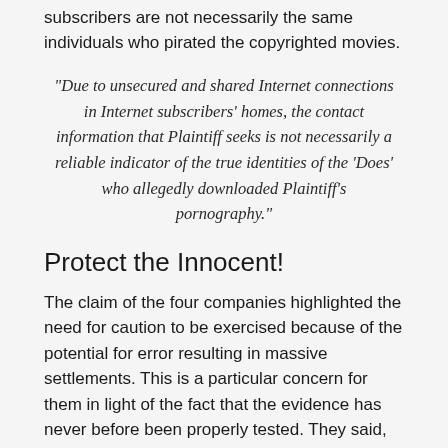subscribers are not necessarily the same individuals who pirated the copyrighted movies.
“Due to unsecured and shared Internet connections in Internet subscribers’ homes, the contact information that Plaintiff seeks is not necessarily a reliable indicator of the true identities of the ‘Does’ who allegedly downloaded Plaintiff’s pornography.”
Protect the Innocent!
The claim of the four companies highlighted the need for caution to be exercised because of the potential for error resulting in massive settlements. This is a particular concern for them in light of the fact that the evidence has never before been properly tested. They said, “These cases present a substantial risk that the ISPs will be required to disclose innocent subscribers’ information for extra-judicial processes, in cases that